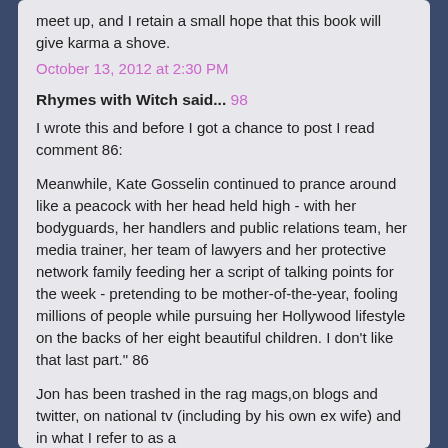meet up, and I retain a small hope that this book will give karma a shove.
October 13, 2012 at 2:30 PM
Rhymes with Witch said... 98
I wrote this and before I got a chance to post I read comment 86:
Meanwhile, Kate Gosselin continued to prance around like a peacock with her head held high - with her bodyguards, her handlers and public relations team, her media trainer, her team of lawyers and her protective network family feeding her a script of talking points for the week - pretending to be mother-of-the-year, fooling millions of people while pursuing her Hollywood lifestyle on the backs of her eight beautiful children. I don't like that last part." 86
Jon has been trashed in the rag mags,on blogs and twitter, on national tv (including by his own ex wife) and in what I refer to as a